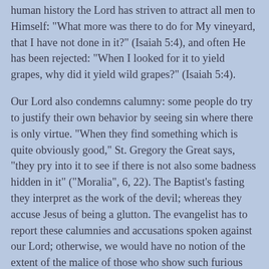human history the Lord has striven to attract all men to Himself: "What more was there to do for My vineyard, that I have not done in it?" (Isaiah 5:4), and often He has been rejected: "When I looked for it to yield grapes, why did it yield wild grapes?" (Isaiah 5:4).
Our Lord also condemns calumny: some people do try to justify their own behavior by seeing sin where there is only virtue. "When they find something which is quite obviously good," St. Gregory the Great says, "they pry into it to see if there is not also some badness hidden in it" ("Moralia", 6, 22). The Baptist's fasting they interpret as the work of the devil; whereas they accuse Jesus of being a glutton. The evangelist has to report these calumnies and accusations spoken against our Lord; otherwise, we would have no notion of the extent of the malice of those who show such furious opposition to Him who went about doing good (Acts 10:38). On other occasions Jesus warned His disciples that they would be treated the same as He was (cf. John 15:20).
The works of Jesus and John the Baptist, each in their own way, lead to the accomplishment of God's plan for man's